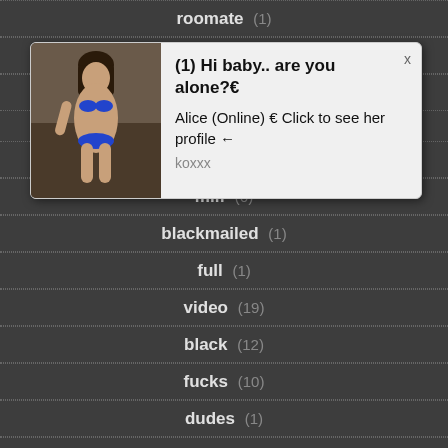roomate (1)
[Figure (other): Pop-up advertisement overlay showing a woman in a bikini with text '(1) Hi baby.. are you alone?' and 'Alice (Online) Click to see her profile']
foot (1)
fetish (1)
milf (6)
blackmailed (1)
full (1)
video (19)
black (12)
fucks (10)
dudes (1)
confessions (1)
housewife (3)